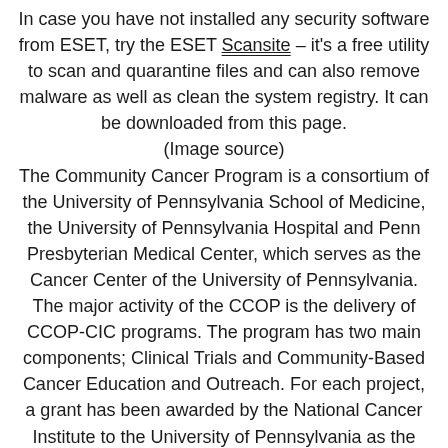In case you have not installed any security software from ESET, try the ESET Scansite – it's a free utility to scan and quarantine files and can also remove malware as well as clean the system registry. It can be downloaded from this page. (Image source) The Community Cancer Program is a consortium of the University of Pennsylvania School of Medicine, the University of Pennsylvania Hospital and Penn Presbyterian Medical Center, which serves as the Cancer Center of the University of Pennsylvania. The major activity of the CCOP is the delivery of CCOP-CIC programs. The program has two main components; Clinical Trials and Community-Based Cancer Education and Outreach. For each project, a grant has been awarded by the National Cancer Institute to the University of Pennsylvania as the lead institution, with CCOP-CICs at Penn